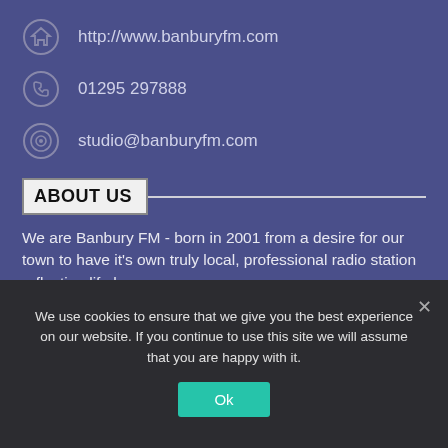http://www.banburyfm.com
01295 297888
studio@banburyfm.com
ABOUT US
We are Banbury FM - born in 2001 from a desire for our town to have it's own truly local, professional radio station reflecting life here.
Read more... →
We use cookies to ensure that we give you the best experience on our website. If you continue to use this site we will assume that you are happy with it.